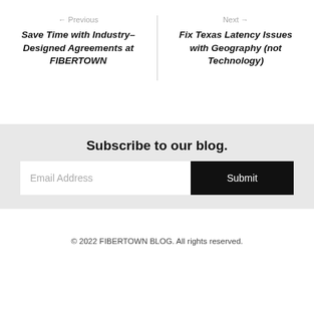← Previous
Save Time with Industry–Designed Agreements at FIBERTOWN
Next →
Fix Texas Latency Issues with Geography (not Technology)
Subscribe to our blog.
Email Address
Submit
© 2022 FIBERTOWN BLOG. All rights reserved.